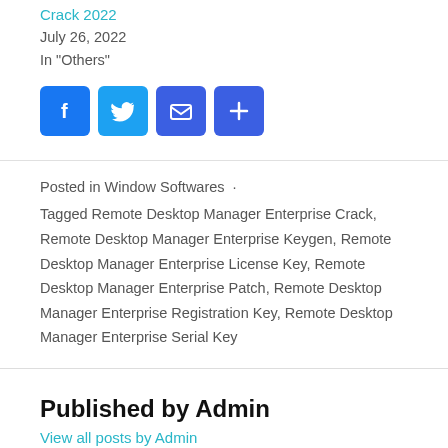Crack 2022
July 26, 2022
In "Others"
[Figure (infographic): Social share buttons: Facebook, Twitter, Email, Share (plus icon)]
Posted in Window Softwares ·
Tagged Remote Desktop Manager Enterprise Crack, Remote Desktop Manager Enterprise Keygen, Remote Desktop Manager Enterprise License Key, Remote Desktop Manager Enterprise Patch, Remote Desktop Manager Enterprise Registration Key, Remote Desktop Manager Enterprise Serial Key
Published by Admin
View all posts by Admin